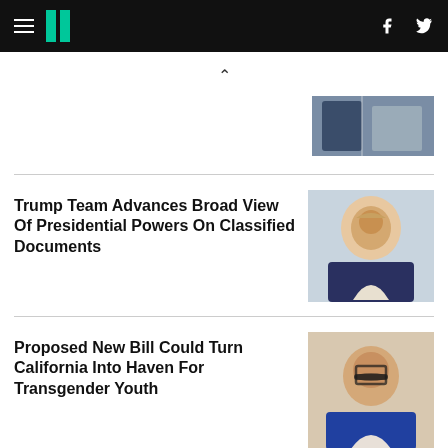HuffPost navigation header with hamburger menu, logo, Facebook and Twitter icons
[Figure (photo): Partial photo of two people, cropped at top of page]
Trump Team Advances Broad View Of Presidential Powers On Classified Documents
[Figure (photo): Photo of Donald Trump pointing and speaking with mouth open, wearing a blue tie]
Proposed New Bill Could Turn California Into Haven For Transgender Youth
[Figure (photo): Photo of a bearded man with glasses wearing a blue suit]